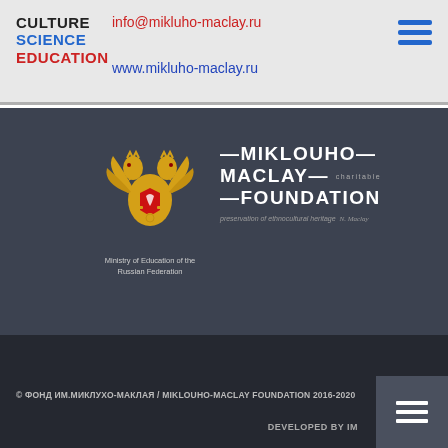CULTURE SCIENCE EDUCATION | info@mikluho-maclay.ru | www.mikluho-maclay.ru
[Figure (logo): Russian coat of arms (double-headed eagle) with text 'Ministry of Education of the Russian Federation' below]
[Figure (logo): Miklouho-Maclay charitable Foundation logo — white geometric text on dark background with tagline 'preservation of ethnocultural heritage']
© ФОНД ИМ.МИКЛУХО-МАКЛАЯ / MIKLOUHO-MACLAY FOUNDATION 2016-2020
DEVELOPED BY IM